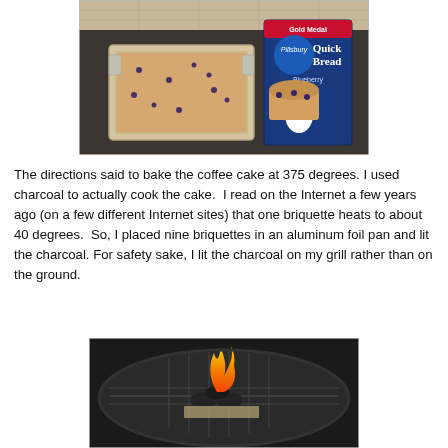[Figure (photo): A rectangular aluminum foil baking pan filled with unbaked batter with blueberries, placed on a dark countertop next to a Pillsbury Quick Bread Blueberry box.]
The directions said to bake the coffee cake at 375 degrees. I used charcoal to actually cook the cake.  I read on the Internet a few years ago (on a few different Internet sites) that one briquette heats to about 40 degrees.  So, I placed nine briquettes in an aluminum foil pan and lit the charcoal. For safety sake, I lit the charcoal on my grill rather than on the ground.
[Figure (photo): A round black charcoal grill with lit charcoal briquettes producing an orange flame, photographed outdoors.]